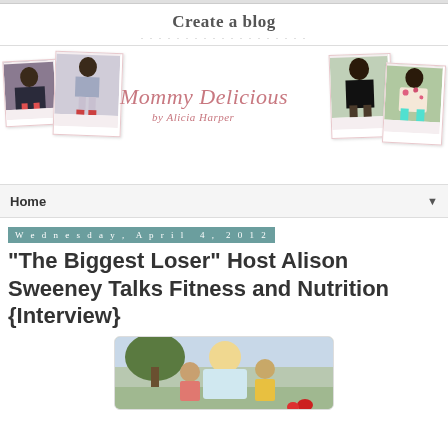Create a blog
[Figure (screenshot): Mommy Delicious by Alicia Harper blog header with polaroid photos of children and a woman]
Home
Wednesday, April 4, 2012
"The Biggest Loser" Host Alison Sweeney Talks Fitness and Nutrition {Interview}
[Figure (photo): Photo of Alison Sweeney with children outdoors]